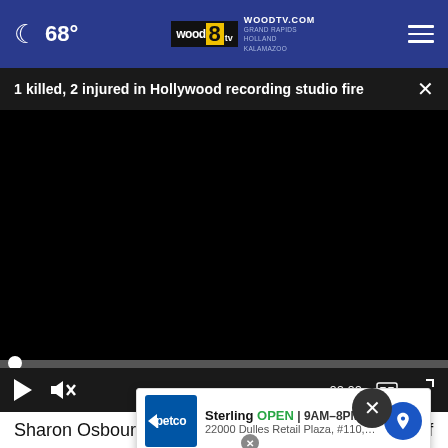68° WOODTV.COM GRAND RAPIDS HOLLAND KALAMAZOO
1 killed, 2 injured in Hollywood recording studio fire
[Figure (screenshot): Black video player with playback controls showing 00:00 timestamp, play button, mute button, captions, and fullscreen icons]
Sharon Osbourne, television personality and wife of legendary rock musician Ozzy Osbourne, spoke out about the fire on her Instagram page. In her post, she said the
[Figure (other): Petco advertisement overlay showing Sterling location Open 9AM-8PM at 22000 Dulles Retail Plaza #110, Sterling]